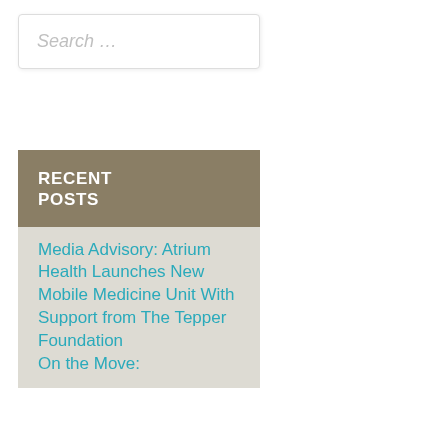Search …
RECENT POSTS
Media Advisory: Atrium Health Launches New Mobile Medicine Unit With Support from The Tepper Foundation
On the Move: